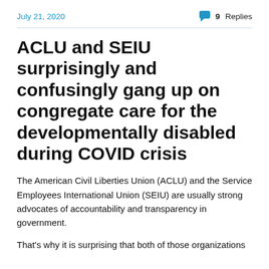July 21, 2020   9 Replies
ACLU and SEIU surprisingly and confusingly gang up on congregate care for the developmentally disabled during COVID crisis
The American Civil Liberties Union (ACLU) and the Service Employees International Union (SEIU) are usually strong advocates of accountability and transparency in government.
That’s why it is surprising that both of those organizations